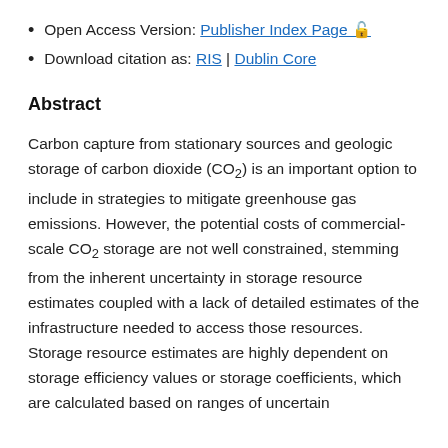Open Access Version: Publisher Index Page 🔓
Download citation as: RIS | Dublin Core
Abstract
Carbon capture from stationary sources and geologic storage of carbon dioxide (CO₂) is an important option to include in strategies to mitigate greenhouse gas emissions. However, the potential costs of commercial-scale CO₂ storage are not well constrained, stemming from the inherent uncertainty in storage resource estimates coupled with a lack of detailed estimates of the infrastructure needed to access those resources. Storage resource estimates are highly dependent on storage efficiency values or storage coefficients, which are calculated based on ranges of uncertain